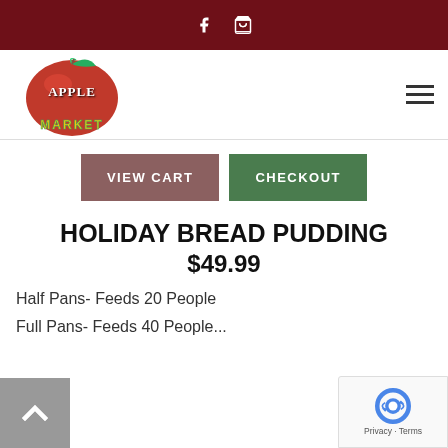Apple Market website header with Facebook and cart icons
[Figure (logo): Apple Market logo with red apple and green/yellow text]
VIEW CART   CHECKOUT
HOLIDAY BREAD PUDDING
$49.99
Half Pans- Feeds 20 People
Full Pans- Feeds 40 People...